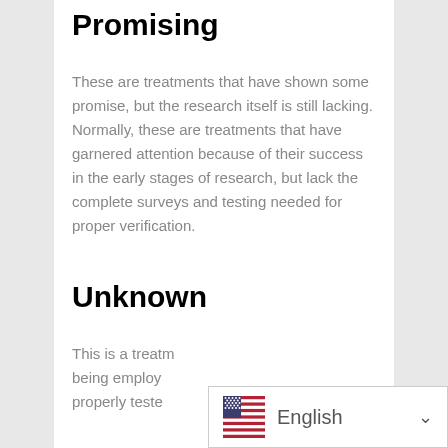Promising
These are treatments that have shown some promise, but the research itself is still lacking. Normally, these are treatments that have garnered attention because of their success in the early stages of research, but lack the complete surveys and testing needed for proper verification.
Unknown
This is a treatm being employ properly teste